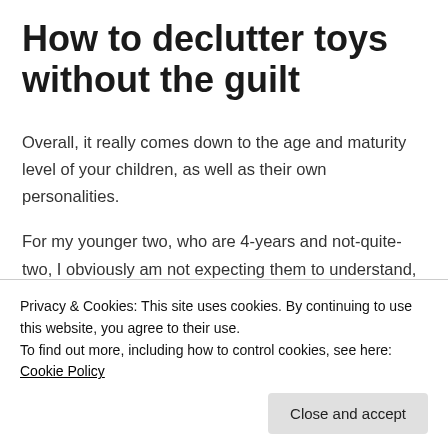How to declutter toys without the guilt
Overall, it really comes down to the age and maturity level of your children, as well as their own personalities.
For my younger two, who are 4-years and not-quite-two, I obviously am not expecting them to understand, or frankly notice, much of the process, so I have definitely taken the ninja approach with their things.
Privacy & Cookies: This site uses cookies. By continuing to use this website, you agree to their use.
To find out more, including how to control cookies, see here: Cookie Policy
decluttering our home, but it has not come without